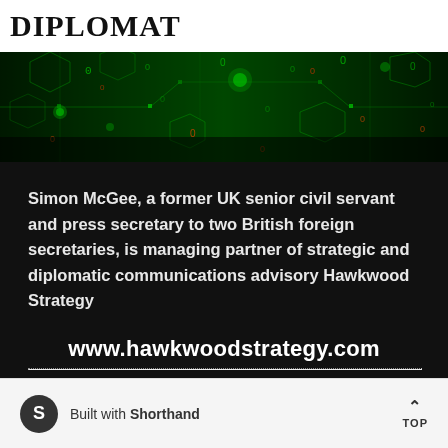DIPLOMAT
[Figure (illustration): Dark green digital/tech themed banner with hexagonal patterns, circuit lines, glowing circles and binary digits (0s and 1s) in green and orange/red on a black-to-green gradient background.]
Simon McGee, a former UK senior civil servant and press secretary to two British foreign secretaries, is managing partner of strategic and diplomatic communications advisory Hawkwood Strategy
www.hawkwoodstrategy.com
Built with Shorthand  TOP